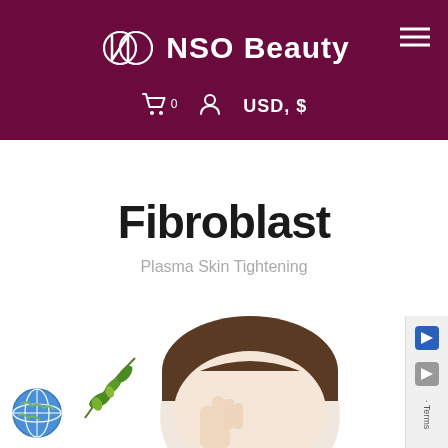NSO Beauty — USD, $
Fibroblast
Plasma Skin Tightening
[Figure (photo): Bottom portion of page showing a person's head with hand near face, green olive branch decoration, globe icon, and partial terms/cookie consent panel on the right edge.]